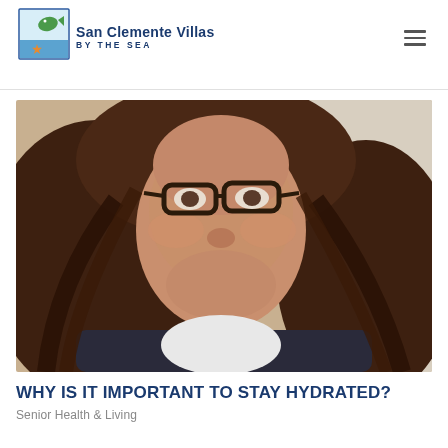San Clemente Villas BY THE SEA
[Figure (photo): Close-up photo of a smiling woman with long dark curly hair and glasses, wearing a dark jacket.]
WHY IS IT IMPORTANT TO STAY HYDRATED?
Senior Health & Living